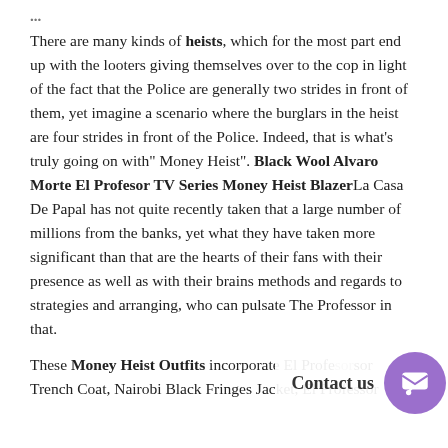...
There are many kinds of heists, which for the most part end up with the looters giving themselves over to the cop in light of the fact that the Police are generally two strides in front of them, yet imagine a scenario where the burglars in the heist are four strides in front of the Police. Indeed, that is what's truly going on with" Money Heist". Black Wool Alvaro Morte El Profesor TV Series Money Heist BlazerLa Casa De Papal has not quite recently taken that a large number of millions from the banks, yet what they have taken more significant than that are the hearts of their fans with their presence as well as with their brains methods and regards to strategies and arranging, who can pulsate The Professor in that.
These Money Heist Outfits incorporate El Profesor Trench Coat, Nairobi Black Fringes Jacket, El Professor